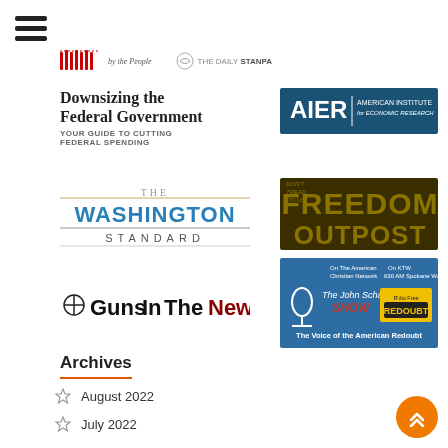[Figure (logo): Hamburger menu icon (three horizontal lines)]
[Figure (logo): Pillars logo with 'by the People' text and The Daily trumpet logo]
[Figure (logo): Downsizing the Federal Government - Your Guide to Cutting Federal Spending book/logo]
[Figure (logo): AIER - American Institute for Economic Research logo]
[Figure (logo): The Washington Standard logo]
[Figure (logo): Freedom Outpost logo with Don't Tread on Us text]
[Figure (logo): GunsInTheNews logo]
[Figure (logo): The John Schaub Show - Radio Free Redoubt - The Voice of the American Redoubt logo]
Archives
August 2022
July 2022